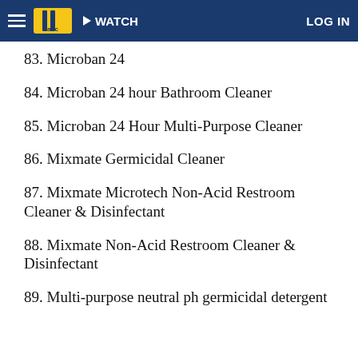WATCH  LOG IN
83. Microban 24
84. Microban 24 hour Bathroom Cleaner
85. Microban 24 Hour Multi-Purpose Cleaner
86. Mixmate Germicidal Cleaner
87. Mixmate Microtech Non-Acid Restroom Cleaner & Disinfectant
88. Mixmate Non-Acid Restroom Cleaner & Disinfectant
89. Multi-purpose neutral ph germicidal detergent